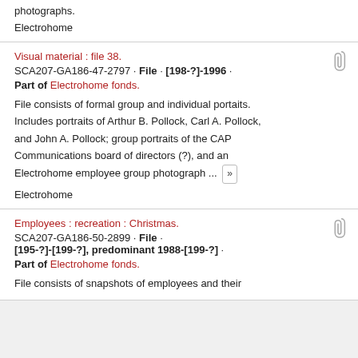photographs.
Electrohome
Visual material : file 38.
SCA207-GA186-47-2797 · File · [198-?]-1996 · Part of Electrohome fonds.
File consists of formal group and individual portaits. Includes portraits of Arthur B. Pollock, Carl A. Pollock, and John A. Pollock; group portraits of the CAP Communications board of directors (?), and an Electrohome employee group photograph ...
Electrohome
Employees : recreation : Christmas.
SCA207-GA186-50-2899 · File · [195-?]-[199-?], predominant 1988-[199-?] · Part of Electrohome fonds.
File consists of snapshots of employees and their